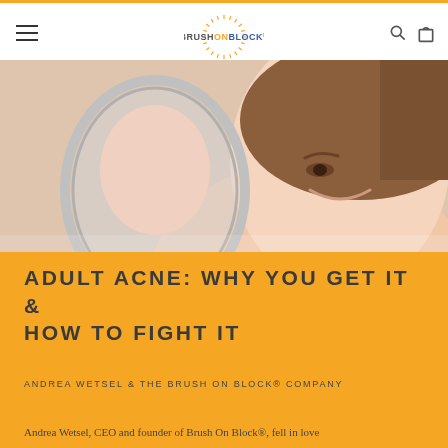BRUSHONBLOCK®
[Figure (photo): Young woman looking into a round vanity mirror, close-up beauty shot]
ADULT ACNE: WHY YOU GET IT & HOW TO FIGHT IT
ANDREA WETSEL & THE BRUSH ON BLOCK® COMPANY
Andrea Wetsel, CEO and founder of Brush On Block®, fell in love